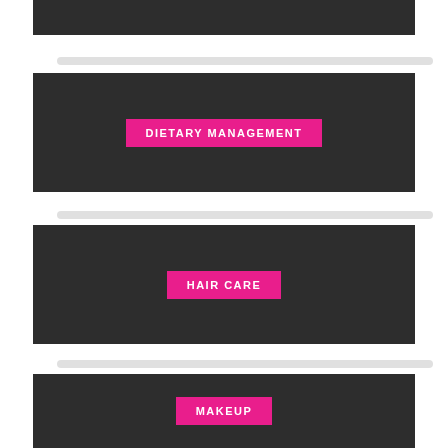[Figure (screenshot): Dark panel (partial, top of page, cropped)]
[Figure (screenshot): Scrollbar track]
[Figure (infographic): Dark panel with pink button labeled DIETARY MANAGEMENT]
[Figure (screenshot): Scrollbar track]
[Figure (infographic): Dark panel with pink button labeled HAIR CARE]
[Figure (screenshot): Scrollbar track]
[Figure (infographic): Dark panel with pink button labeled MAKEUP (partially visible at bottom)]